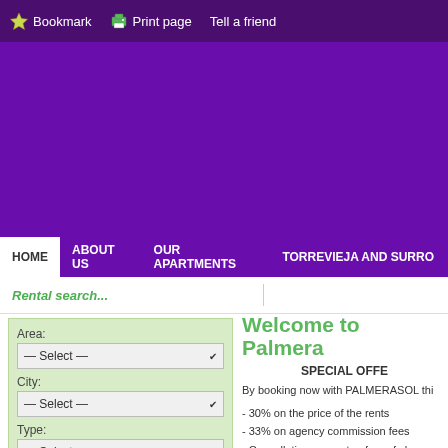Bookmark   Print page   Tell a friend
[Figure (other): Purple banner/advertisement area]
HOME   ABOUT US   OUR APARTMENTS   TORREVIEJA AND SURRO...
Rental search...
Area: — Select —
City: — Select —
Type: — Select —
Bedrooms: — Select —
Season:
Welcome to Palmera...
SPECIAL OFFE...
By booking now with PALMERASOL thi...
- 30% on the price of the rents
- 33% on agency commission fees
- Cancellation guarantee free of charge